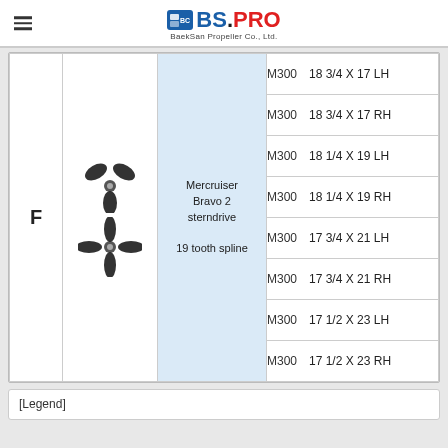BS.PRO BaekSan Propeller Co., Ltd.
|  | Image | Description | Model & Size |
| --- | --- | --- | --- |
| F | [propeller images] | Mercruiser Bravo 2 sterndrive 19 tooth spline | M300 18 3/4 X 17 LH |
|  |  |  | M300 18 3/4 X 17 RH |
|  |  |  | M300 18 1/4 X 19 LH |
|  |  |  | M300 18 1/4 X 19 RH |
|  |  |  | M300 17 3/4 X 21 LH |
|  |  |  | M300 17 3/4 X 21 RH |
|  |  |  | M300 17 1/2 X 23 LH |
|  |  |  | M300 17 1/2 X 23 RH |
[Legend]